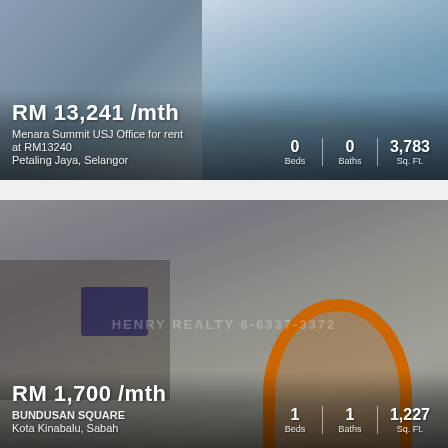[Figure (photo): Exterior photo of Menara Summit USJ office building with glass facade and yellow vertical stripes]
RM 13,241 /mth
Menara Summit USJ Office for rent at RM13240
Petaling Jaya, Selangor
0 Beds | 0 Baths | 3,783 Sq. Ft.
[Figure (photo): Street-level photo of Bundusan Square commercial building in Kota Kinabalu with orange arch entrance and brown facade]
RM 1,700 /mth
BUNDUSAN SQUARE
Kota Kinabalu, Sabah
1 Beds | 1 Baths | 1,227 Sq. Ft.